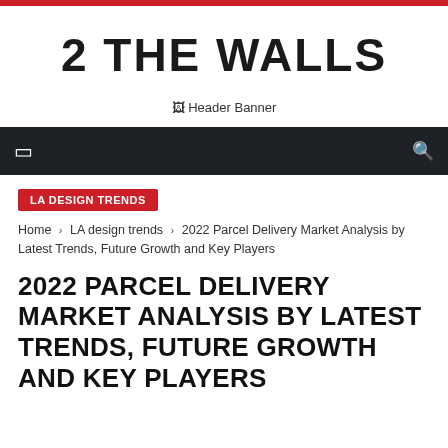2 THE WALLS
[Figure (other): Header Banner placeholder image]
Navigation bar with menu and search icons
LA DESIGN TRENDS
Home › LA design trends › 2022 Parcel Delivery Market Analysis by Latest Trends, Future Growth and Key Players
2022 PARCEL DELIVERY MARKET ANALYSIS BY LATEST TRENDS, FUTURE GROWTH AND KEY PLAYERS